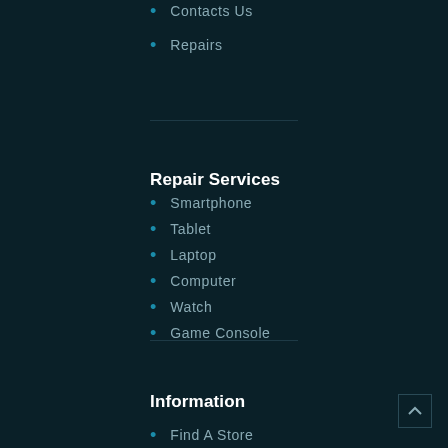Contacts Us
Repairs
Repair Services
Smartphone
Tablet
Laptop
Computer
Watch
Game Console
Information
Find A Store